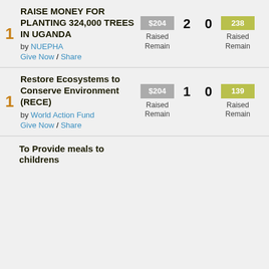1 RAISE MONEY FOR PLANTING 324,000 TREES IN UGANDA by NUEPHA Give Now / Share | $204 Raised Remaining | 2 | 0 | 238 Raised Remaining
1 Restore Ecosystems to Conserve Environment (RECE) by World Action Fund Give Now / Share | $204 Raised Remaining | 1 | 0 | 139 Raised Remaining
To Provide meals to childrens with...